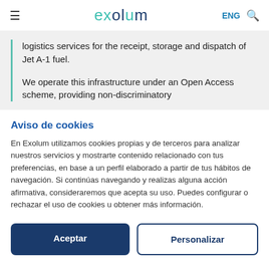exolum | ENG
logistics services for the receipt, storage and dispatch of Jet A-1 fuel.

We operate this infrastructure under an Open Access scheme, providing non-discriminatory
Aviso de cookies
En Exolum utilizamos cookies propias y de terceros para analizar nuestros servicios y mostrarte contenido relacionado con tus preferencias, en base a un perfil elaborado a partir de tus hábitos de navegación. Si continúas navegando y realizas alguna acción afirmativa, consideraremos que acepta su uso. Puedes configurar o rechazar el uso de cookies u obtener más información.
Aceptar | Personalizar